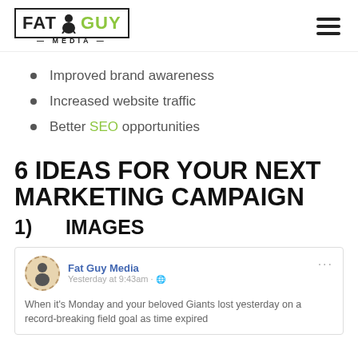Fat Guy Media
Improved brand awareness
Increased website traffic
Better SEO opportunities
6 IDEAS FOR YOUR NEXT MARKETING CAMPAIGN
1)     IMAGES
[Figure (screenshot): Fat Guy Media Facebook post: 'When it’s Monday and your beloved Giants lost yesterday on a record-breaking field goal as time expired']
When it’s Monday and your beloved Giants lost yesterday on a record-breaking field goal as time expired